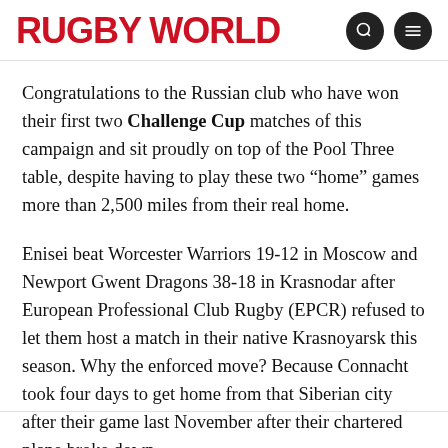RUGBY WORLD
Congratulations to the Russian club who have won their first two Challenge Cup matches of this campaign and sit proudly on top of the Pool Three table, despite having to play these two “home” games more than 2,500 miles from their real home.
Enisei beat Worcester Warriors 19-12 in Moscow and Newport Gwent Dragons 38-18 in Krasnodar after European Professional Club Rugby (EPCR) refused to let them host a match in their native Krasnoyarsk this season. Why the enforced move? Because Connacht took four days to get home from that Siberian city after their game last November after their chartered plane broke down.